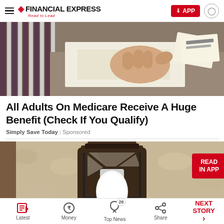Financial Express — Read to Lead | APP button | User icon
[Figure (photo): A hand holding papers/cards on a table, appearing to be insurance or financial documents]
All Adults On Medicare Receive A Huge Benefit (Check If You Qualify)
Simply Save Today | Sponsored
[Figure (photo): An outdoor wall lantern with a white light bulb, mounted on a textured stucco wall, with a 'READ IN APP' red badge overlay]
Latest | Money | Top News (26) | Share | NEXT STORY